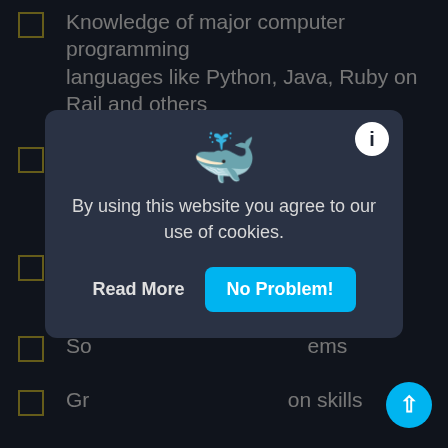Knowledge of major computer programming languages like Python, Java, Ruby on Rail and others
Knowledge of major shopping carts available in the marketplace
Ex... ke HT...
So... ems
Gr... on skills
Great experience of API integrations in different environment like Windows, Linux, and others
[Figure (screenshot): Cookie consent modal dialog with a whale emoji, info button, message 'By using this website you agree to our use of cookies.', and two buttons: 'Read More' and 'No Problem!']